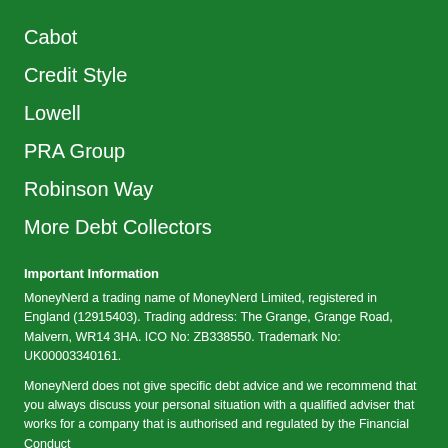Cabot
Credit Style
Lowell
PRA Group
Robinson Way
More Debt Collectors
Important Information
MoneyNerd a trading name of MoneyNerd Limited, registered in England (12915403). Trading address: The Grange, Grange Road, Malvern, WR14 3HA. ICO No: ZB338550. Trademark No: UK00003340161.
MoneyNerd does not give specific debt advice and we recommend that you always discuss your personal situation with a qualified adviser that works for a company that is authorised and regulated by the Financial Conduct